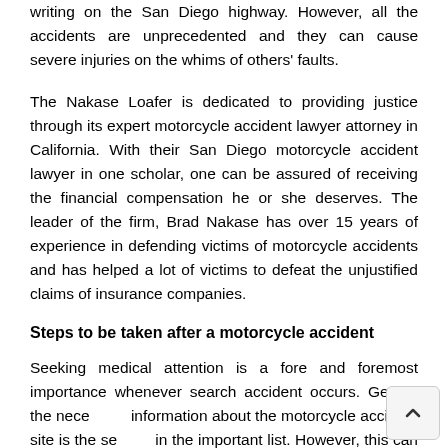writing on the San Diego highway. However, all the accidents are unprecedented and they can cause severe injuries on the whims of others' faults.
The Nakase Loafer is dedicated to providing justice through its expert motorcycle accident lawyer attorney in California. With their San Diego motorcycle accident lawyer in one scholar, one can be assured of receiving the financial compensation he or she deserves. The leader of the firm, Brad Nakase has over 15 years of experience in defending victims of motorcycle accidents and has helped a lot of victims to defeat the unjustified claims of insurance companies.
Steps to be taken after a motorcycle accident
Seeking medical attention is a fore and foremost importance whenever search accident occurs. Getting the necessary information about the motorcycle accident site is the second in the important list. However, this can only be done if once